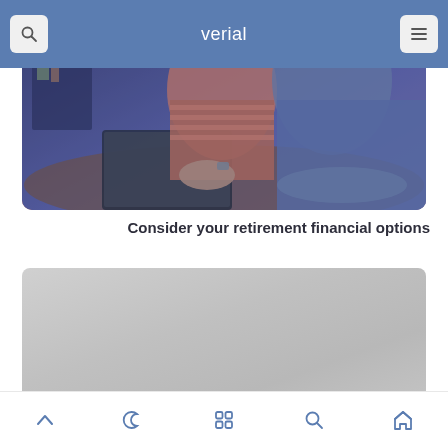verial
[Figure (photo): Two people sitting together working on a laptop computer, viewed from behind/side angle. One person wearing a striped pink/red shirt, the other in a grey/blue long-sleeve shirt. A bookcase is visible in the background.]
Consider your retirement financial options
[Figure (screenshot): A grey rectangular placeholder content area, possibly representing a loading or blank content box on a mobile app screen.]
Navigation icons: up arrow, moon/crescent, grid/apps, search, home